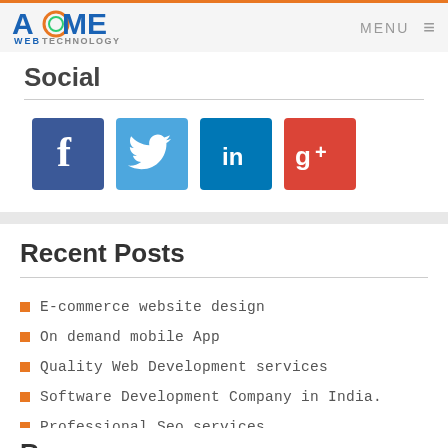ACME WEB TECHNOLOGY — MENU
Social
[Figure (infographic): Four social media icons: Facebook (blue), Twitter (light blue), LinkedIn (dark blue), Google+ (red)]
Recent Posts
E-commerce website design
On demand mobile App
Quality Web Development services
Software Development Company in India.
Professional Seo services